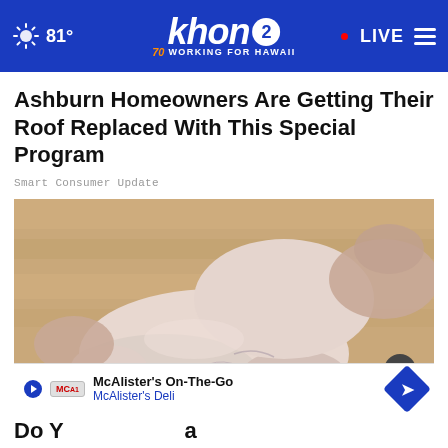81° khon2 WORKING FOR HAWAII • LIVE
Ashburn Homeowners Are Getting Their Roof Replaced With This Special Program
Smart Consumer Update
[Figure (photo): Close-up photograph of a person's bare foot and ankle being held by hands, showing the sole and heel area against a light wood floor background.]
McAlister's On-The-Go
McAlister's Deli
Do Y                                        a